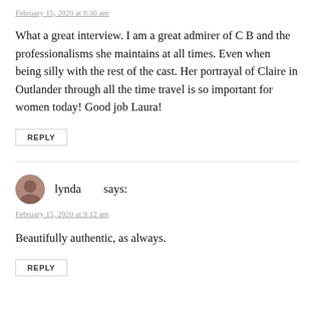February 15, 2020 at 8:36 am
What a great interview. I am a great admirer of C B and the professionalisms she maintains at all times. Even when being silly with the rest of the cast. Her portrayal of Claire in Outlander through all the time travel is so important for women today! Good job Laura!
REPLY
lynda says:
February 15, 2020 at 9:12 am
Beautifully authentic, as always.
REPLY